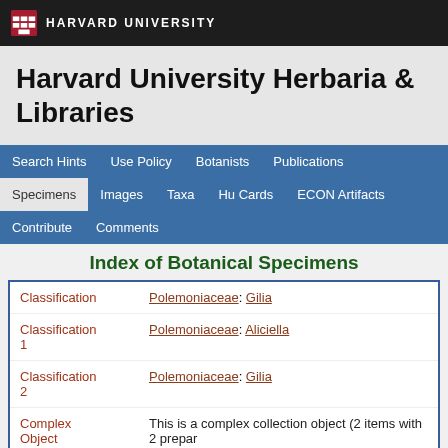HARVARD UNIVERSITY
Harvard University Herbaria & Libraries
Search Hints | Use Policy | Botanists | Publications | Specimens | Images | Taxa | Hu Cards | ECON Artifacts | Contribute | Comments
Index of Botanical Specimens
| Field | Value |
| --- | --- |
| Classification | Polemoniaceae: Gilia |
| Classification 1 | Polemoniaceae: Aliciella |
| Classification 2 | Polemoniaceae: Gilia |
| Complex Object | This is a complex collection object (2 items with 2 prepar... |
| Harvard University Herbaria Barcode(s) | 01154937; 01154938 |